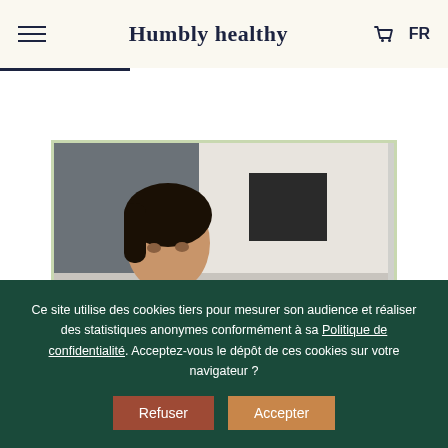Humbly healthy
[Figure (photo): Partial view of a woman's face and head in an interior room setting with a dark wall panel and white walls visible in the background.]
Ce site utilise des cookies tiers pour mesurer son audience et réaliser des statistiques anonymes conformément à sa Politique de confidentialité. Acceptez-vous le dépôt de ces cookies sur votre navigateur ?